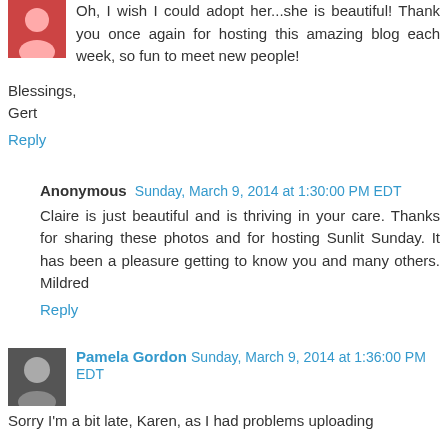Oh, I wish I could adopt her...she is beautiful! Thank you once again for hosting this amazing blog each week, so fun to meet new people!

Blessings,
Gert
Reply
Anonymous Sunday, March 9, 2014 at 1:30:00 PM EDT
Claire is just beautiful and is thriving in your care. Thanks for sharing these photos and for hosting Sunlit Sunday. It has been a pleasure getting to know you and many others.
Mildred
Reply
Pamela Gordon Sunday, March 9, 2014 at 1:36:00 PM EDT
Sorry I'm a bit late, Karen, as I had problems uploading